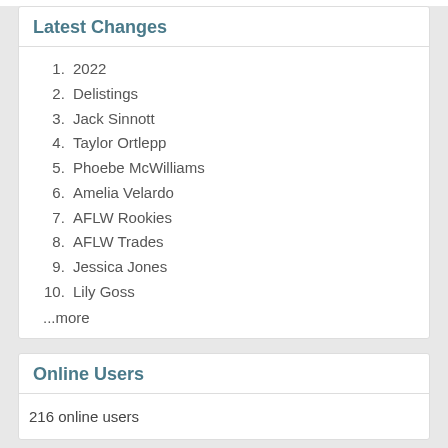Latest Changes
2022
Delistings
Jack Sinnott
Taylor Ortlepp
Phoebe McWilliams
Amelia Velardo
AFLW Rookies
AFLW Trades
Jessica Jones
Lily Goss
...more
Online Users
216 online users
Random Pages
Stat Shot: H Hanton
Father-Sons